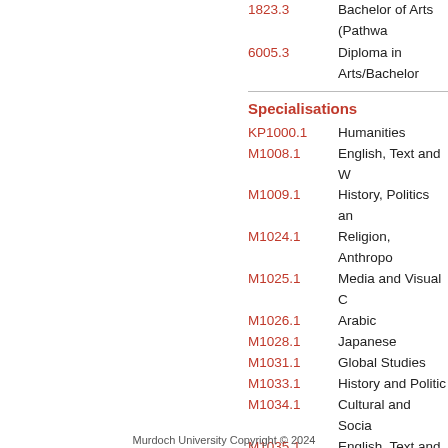1823.3   Bachelor of Arts (Pathwa...
6005.3   Diploma in Arts/Bachelor...
Specialisations
KP1000.1   Humanities
M1008.1   English, Text and W...
M1009.1   History, Politics an...
M1024.1   Religion, Anthropo...
M1025.1   Media and Visual C...
M1026.1   Arabic
M1028.1   Japanese
M1031.1   Global Studies
M1033.1   History and Politic...
M1034.1   Cultural and Socia...
M1035.1   English, Text and W...
M1036.1   Islamic Studies
SM1003.1   Cultural and Socia...
SM1004.1   English, Text and W...
SM1032.1   Religion, Anthropo...
SM1038.1   Spanish
Murdoch University Copyright © 2024